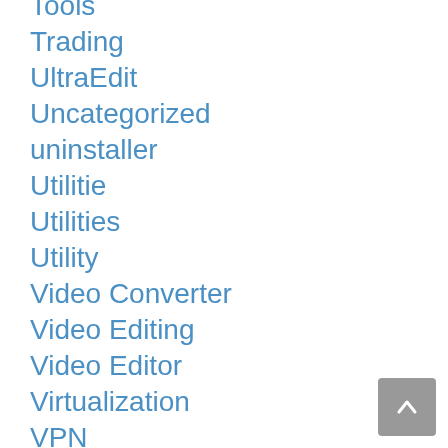Tools
Trading
UltraEdit
Uncategorized
uninstaller
Utilitie
Utilities
Utility
Video Converter
Video Editing
Video Editor
Virtualization
VPN
VPN Softwares